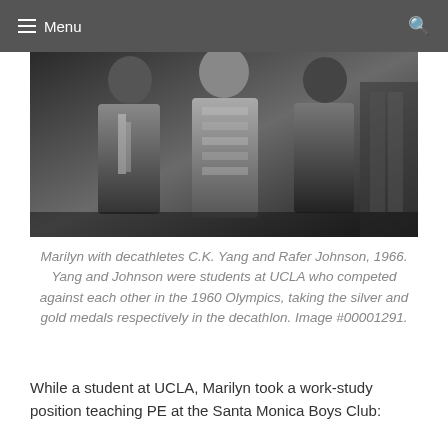Menu
[Figure (photo): Black and white photograph of Marilyn with decathletes C.K. Yang and Rafer Johnson, 1966. Three people posing together indoors.]
Marilyn with decathletes C.K. Yang and Rafer Johnson, 1966. Yang and Johnson were students at UCLA who competed against each other in the 1960 Olympics, taking the silver and gold medals respectively in the decathlon. Image #00001291.
While a student at UCLA, Marilyn took a work-study position teaching PE at the Santa Monica Boys Club: